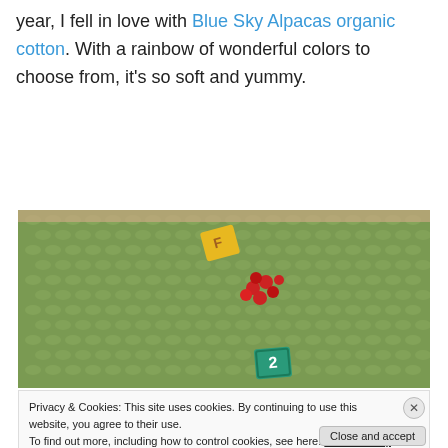year, I fell in love with Blue Sky Alpacas organic cotton. With a rainbow of wonderful colors to choose from, it's so soft and yummy.
[Figure (photo): Close-up photo of green knitted/crocheted fabric texture with a small yellow tile, red berries/beads, and a teal number tile placed on it.]
Privacy & Cookies: This site uses cookies. By continuing to use this website, you agree to their use.
To find out more, including how to control cookies, see here: Cookie Policy
Close and accept